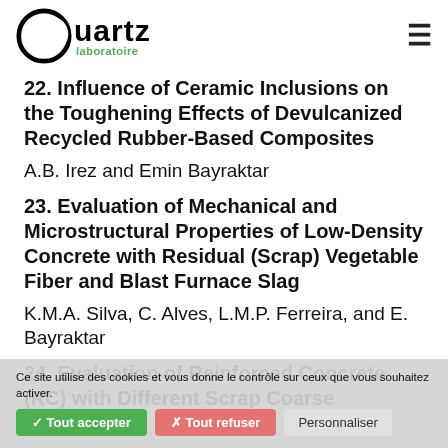Quartz laboratoire
22. Influence of Ceramic Inclusions on the Toughening Effects of Devulcanized Recycled Rubber-Based Composites
A.B. Irez and Emin Bayraktar
23. Evaluation of Mechanical and Microstructural Properties of Low-Density Concrete with Residual (Scrap) Vegetable Fiber and Blast Furnace Slag
K.M.A. Silva, C. Alves, L.M.P. Ferreira, and E. Bayraktar
24. Evaluation of Reinforced Concrete (RC) with Different Scrap Coarse Aggregates
E.S. Fonseca, K.M.A. Silva, S.H.S. Santana, L.
Ce site utilise des cookies et vous donne le contrôle sur ceux que vous souhaitez activer.
✓ Tout accepter   ✗ Tout refuser   Personnaliser